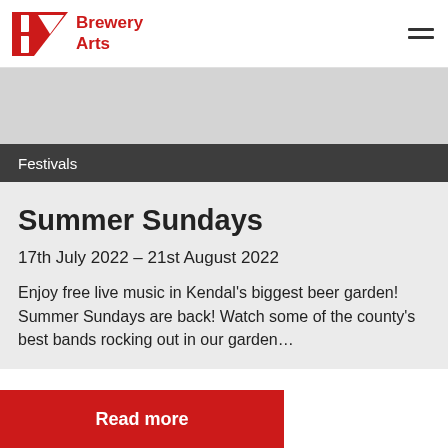Brewery Arts
[Figure (illustration): Grey image placeholder banner]
Festivals
Summer Sundays
17th July 2022 – 21st August 2022
Enjoy free live music in Kendal's biggest beer garden! Summer Sundays are back! Watch some of the county's best bands rocking out in our garden…
Read more